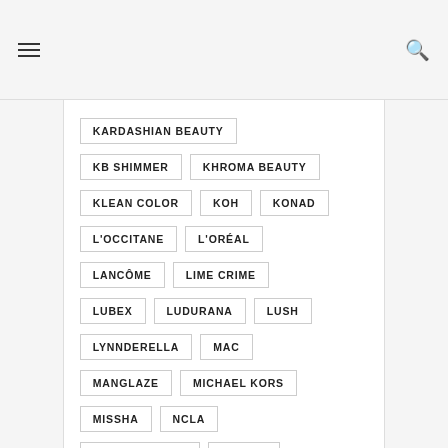Navigation header with hamburger menu and search icon
KARDASHIAN BEAUTY
KB SHIMMER
KHROMA BEAUTY
KLEAN COLOR
KOH
KONAD
L'OCCITANE
L'ORÉAL
LANCÔME
LIME CRIME
LUBEX
LUDURANA
LUSH
LYNNDERELLA
MAC
MANGLAZE
MICHAEL KORS
MISSHA
NCLA
NERD LACQUER
NFU OH
NOTS
NUBAR
NYX
OHUI